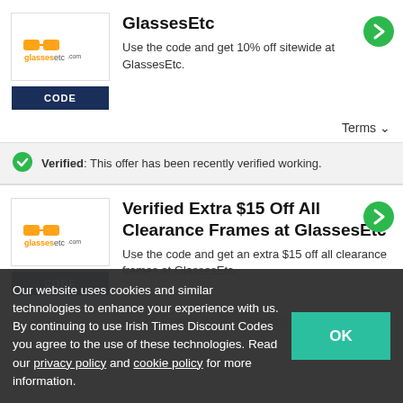GlassesEtc
Use the code and get 10% off sitewide at GlassesEtc.
Terms
Verified: This offer has been recently verified working.
Verified Extra $15 Off All Clearance Frames at GlassesEtc
Use the code and get an extra $15 off all clearance frames at GlassesEtc.
Our website uses cookies and similar technologies to enhance your experience with us. By continuing to use Irish Times Discount Codes you agree to the use of these technologies. Read our privacy policy and cookie policy for more information.